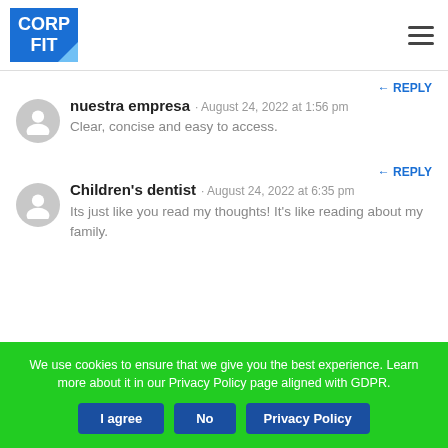[Figure (logo): CorpFit logo: blue square with white bold text CORP FIT, light blue triangle in bottom-right corner]
REPLY
nuestra empresa · August 24, 2022 at 1:56 pm
Clear, concise and easy to access.
REPLY
Children's dentist · August 24, 2022 at 6:35 pm
Its just like you read my thoughts! It's like reading about my family.
We use cookies to ensure that we give you the best experience. Learn more about it in our Privacy Policy page aligned with GDPR.